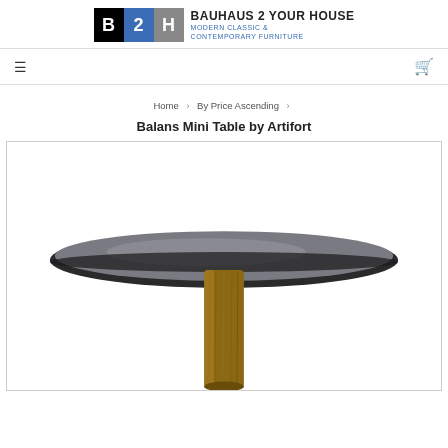[Figure (logo): Bauhaus 2 Your House logo with black B, blue 2, grey H squares and brand name text]
Navigation bar with hamburger menu icon and cart icon
Home › By Price Ascending › Balans Mini Table by Artifort
Balans Mini Table by Artifort
[Figure (photo): Product photo of the Balans Mini Table by Artifort - a round dark grey/black tray top table with a wooden cylindrical base stem, photographed against white background]